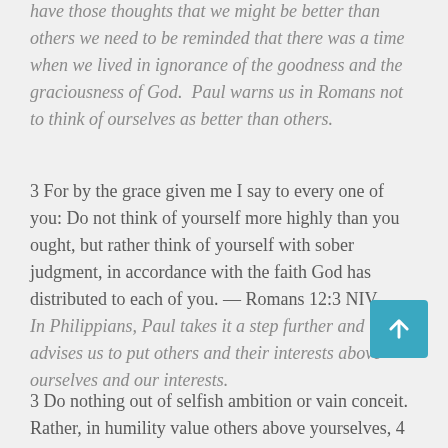have those thoughts that we might be better than others we need to be reminded that there was a time when we lived in ignorance of the goodness and the graciousness of God.  Paul warns us in Romans not to think of ourselves as better than others.
3 For by the grace given me I say to every one of you: Do not think of yourself more highly than you ought, but rather think of yourself with sober judgment, in accordance with the faith God has distributed to each of you. — Romans 12:3 NIV In Philippians, Paul takes it a step further and advises us to put others and their interests above ourselves and our interests.
3 Do nothing out of selfish ambition or vain conceit. Rather, in humility value others above yourselves, 4